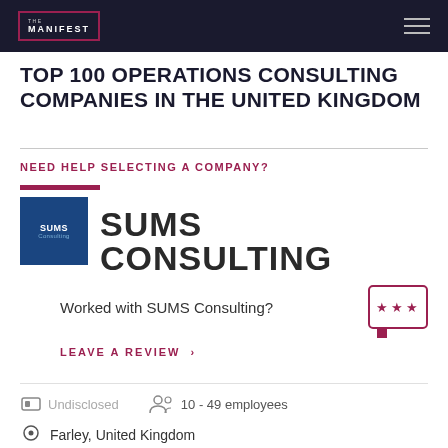THE MANIFEST
TOP 100 OPERATIONS CONSULTING COMPANIES IN THE UNITED KINGDOM
NEED HELP SELECTING A COMPANY?
[Figure (logo): SUMS Consulting logo — blue square with white text 'SUMS Consulting']
SUMS CONSULTING
Worked with SUMS Consulting?
LEAVE A REVIEW ›
Undisclosed
10 - 49 employees
Farley, United Kingdom